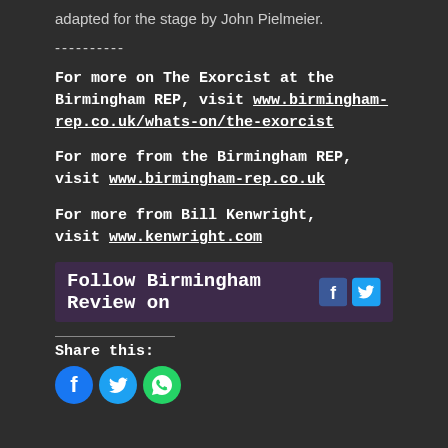adapted for the stage by John Pielmeier.
----------
For more on The Exorcist at the Birmingham REP, visit www.birmingham-rep.co.uk/whats-on/the-exorcist
For more from the Birmingham REP, visit www.birmingham-rep.co.uk
For more from Bill Kenwright, visit www.kenwright.com
[Figure (infographic): Follow Birmingham Review on Facebook and Twitter icons]
Share this:
[Figure (infographic): Social share icons: Facebook, Twitter, WhatsApp]